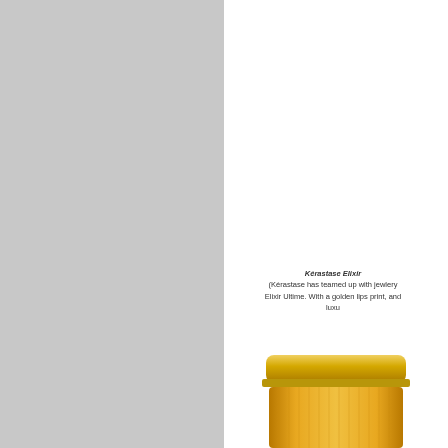[Figure (photo): Left half of page is a solid light grey rectangle placeholder image area]
Kérastase Elixir (Kérastase has teamed up with jewlery Elixir Ultime. With a golden lips print, and luxu
[Figure (photo): Bottom portion of a golden/amber Kérastase Elixir Ultime product bottle with a gold metallic cap, partially cropped]